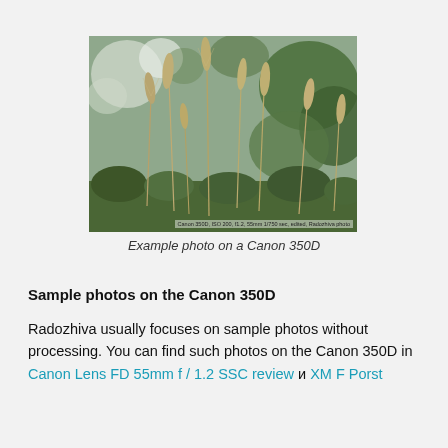[Figure (photo): Close-up photograph of wild grass seed heads (foxtail/brome) with blurred green bokeh background, taken with Canon 350D. Watermark text in bottom right: 'Canon 350D, ISO 200, f1.2, 55mm 1/750 sec, edited, Radozhiva photo']
Example photo on a Canon 350D
Sample photos on the Canon 350D
Radozhiva usually focuses on sample photos without processing. You can find such photos on the Canon 350D in Canon Lens FD 55mm f / 1.2 SSC review и XM F Porst